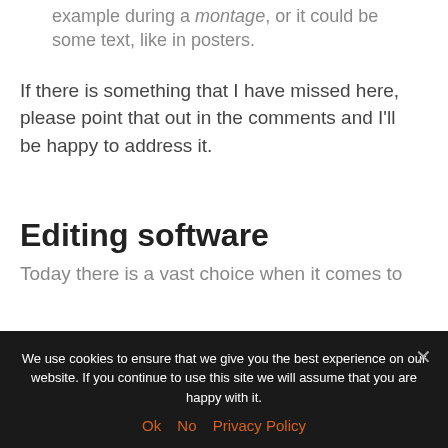example during a montage, or it could be some text, like in posters.
If there is something that I have missed here, please point that out in the comments and I'll be happy to address it.
Editing software
Today there is a vast choice when it comes to
We use cookies to ensure that we give you the best experience on our website. If you continue to use this site we will assume that you are happy with it.
Ok  No  Privacy Policy